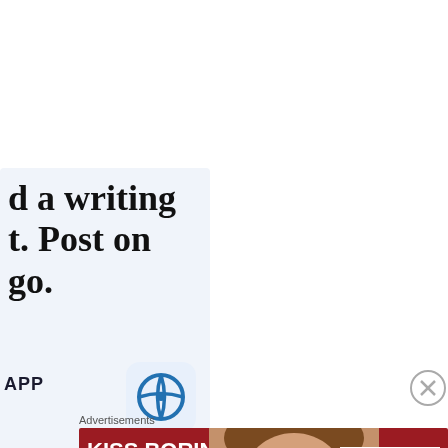[Figure (screenshot): WordPress app advertisement with light blue background showing partial text 'd a writing t. Post on go.' with WordPress logo icon and APP label]
Advertisements
[Figure (screenshot): Macy's banner advertisement with dark red background showing 'KISS BORING LIPS GOODBYE' text with a model photo and 'SHOP NOW' button with Macy's star logo]